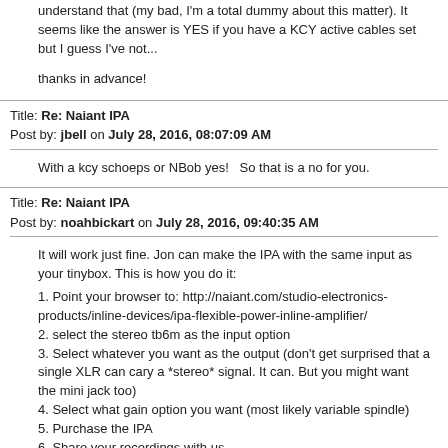understand that (my bad, I'm a total dummy about this matter). It seems like the answer is YES if you have a KCY active cables set but I guess I've not...
thanks in advance!
Title: Re: Naiant IPA
Post by: jbell on July 28, 2016, 08:07:09 AM
With a kcy schoeps or NBob yes!   So that is a no for you.
Title: Re: Naiant IPA
Post by: noahbickart on July 28, 2016, 09:40:35 AM
It will work just fine. Jon can make the IPA with the same input as your tinybox. This is how you do it:
1. Point your browser to: http://naiant.com/studio-electronics-products/inline-devices/ipa-flexible-power-inline-amplifier/
2. select the stereo tb6m as the input option
3. Select whatever you want as the output (don't get surprised that a single XLR can cary a *stereo* signal. It can. But you might want the mini jack too)
4. Select what gain option you want (most likely variable spindle)
5. Purchase the IPA
6. Share your recordings with us.